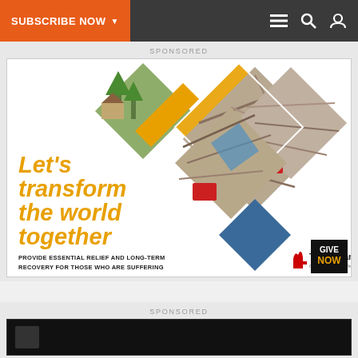SUBSCRIBE NOW
SPONSORED
[Figure (illustration): Charity advertisement for The Advance, Global Ministries | The United Methodist Church. Shows disaster debris/destruction photos in diamond shapes. Large orange italic text: Let's transform the world together. Subtext: PROVIDE ESSENTIAL RELIEF AND LONG-TERM RECOVERY FOR THOSE WHO ARE SUFFERING. Logo: The Advance, Global Ministries | The United Methodist Church. GIVE NOW button in black box with gold text.]
SPONSORED